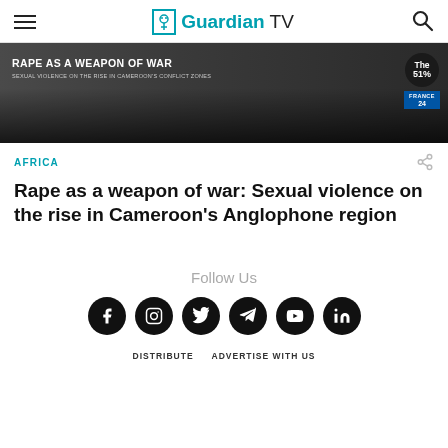Guardian TV
[Figure (screenshot): Video thumbnail: RAPE AS A WEAPON OF WAR - SEXUAL VIOLENCE ON THE RISE IN CAMEROON'S CONFLICT ZONES, with The 51% and France 24 logos]
AFRICA
Rape as a weapon of war: Sexual violence on the rise in Cameroon's Anglophone region
Follow Us
[Figure (illustration): Social media icons: Facebook, Instagram, Twitter, Telegram, YouTube, LinkedIn]
DISTRIBUTE   ADVERTISE WITH US